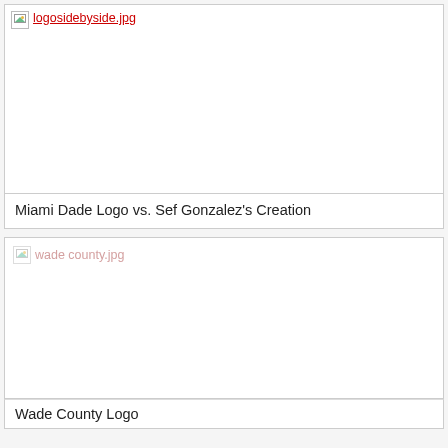[Figure (photo): Broken image placeholder showing 'logosidebyside.jpg' filename in red]
Miami Dade Logo vs. Sef Gonzalez's Creation
[Figure (photo): Broken image placeholder showing 'wade county.jpg' filename in faded pink/red]
Wade County Logo